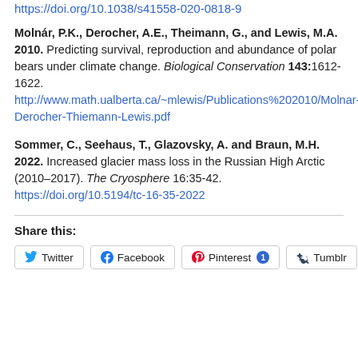https://doi.org/10.1038/s41558-020-0818-9
Molnár, P.K., Derocher, A.E., Theimann, G., and Lewis, M.A. 2010. Predicting survival, reproduction and abundance of polar bears under climate change. Biological Conservation 143:1612-1622. http://www.math.ualberta.ca/~mlewis/Publications%202010/Molnar-Derocher-Thiemann-Lewis.pdf
Sommer, C., Seehaus, T., Glazovsky, A. and Braun, M.H. 2022. Increased glacier mass loss in the Russian High Arctic (2010–2017). The Cryosphere 16:35-42. https://doi.org/10.5194/tc-16-35-2022
Share this:
Twitter | Facebook | Pinterest 1 | Tumblr